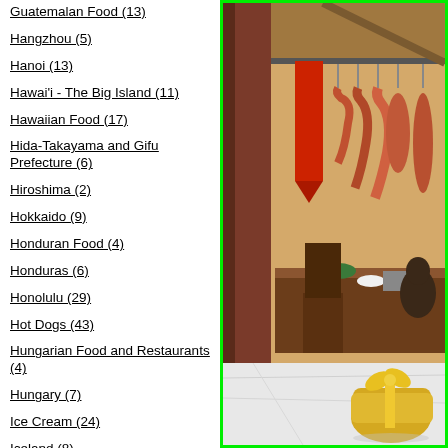Guatemalan Food (13)
Hangzhou (5)
Hanoi (13)
Hawai'i - The Big Island (11)
Hawaiian Food (17)
Hida-Takayama and Gifu Prefecture (6)
Hiroshima (2)
Hokkaido (9)
Honduran Food (4)
Honduras (6)
Honolulu (29)
Hot Dogs (43)
Hungarian Food and Restaurants (4)
Hungary (7)
Ice Cream (24)
Iceland (8)
Iceland Food and Restaurants (8)
Indian Restaurants (15)
[Figure (photo): A butcher shop or meat market interior showing hanging carcasses and meat on hooks along a metal rod, a wooden counter/desk in the background, a red cloth hanging, and in the foreground a white marble surface with a gold wrapped bundle tied with a gold ribbon.]